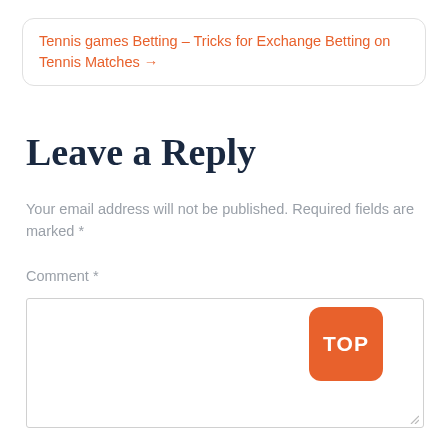Tennis games Betting – Tricks for Exchange Betting on Tennis Matches →
Leave a Reply
Your email address will not be published. Required fields are marked *
Comment *